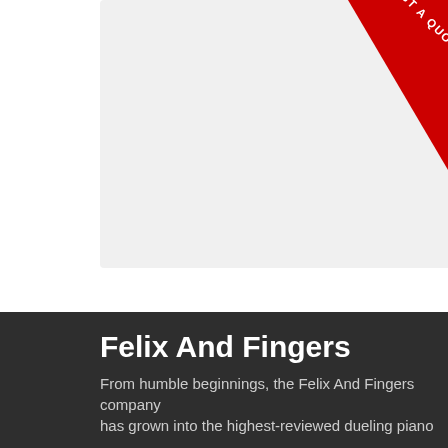[Figure (screenshot): A large light gray textarea input box with a resize handle in the bottom right corner, partially visible on the page.]
[Figure (other): Red diagonal banner in the top right corner with text 'REQUEST A QUOTE' in white bold letters.]
Submit
Felix And Fingers
From humble beginnings, the Felix And Fingers company has grown into the highest-reviewed dueling piano